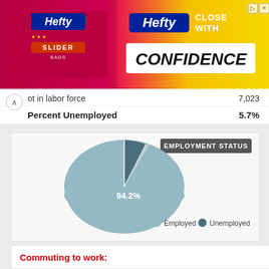[Figure (screenshot): Hefty Slider Bags advertisement banner with logo and 'CLOSE WITH CONFIDENCE' text]
ot in labor force   7,023
Percent Unemployed   5.7%
[Figure (pie-chart): EMPLOYMENT STATUS]
Commuting to work: